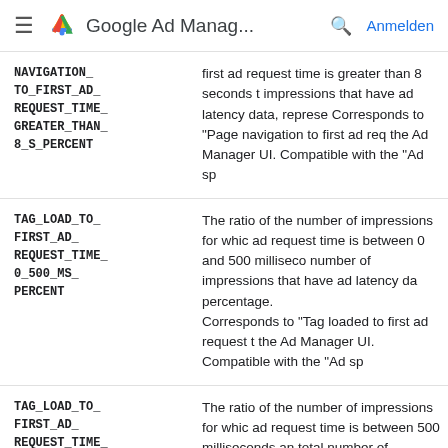Google Ad Manag... Anmelden
| Field | Description |
| --- | --- |
| NAVIGATION_TO_FIRST_AD_REQUEST_TIME_GREATER_THAN_8_S_PERCENT | first ad request time is greater than 8 seconds t impressions that have ad latency data, represe Corresponds to "Page navigation to first ad req the Ad Manager UI. Compatible with the "Ad sp |
| TAG_LOAD_TO_FIRST_AD_REQUEST_TIME_0_500_MS_PERCENT | The ratio of the number of impressions for whic ad request time is between 0 and 500 milliseco number of impressions that have ad latency da percentage.
Corresponds to "Tag loaded to first ad request t the Ad Manager UI. Compatible with the "Ad sp |
| TAG_LOAD_TO_FIRST_AD_REQUEST_TIME_500_1000_MS_PERCENT | The ratio of the number of impressions for whic ad request time is between 500 milliseconds an total number of impressions that have ad laten as a percentage.
Corresponds to "Tag loaded to first ad request t the Ad Manager UI. Compatible with the "Ad sp |
| TAG_LOAD_TO_ | The ratio of the number of impressions for whic |